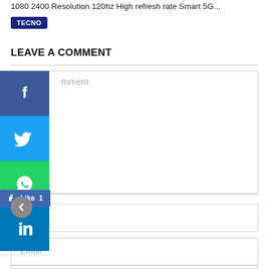1080 2400 Resolution 120hz High refresh rate Smart 5G...
TECNO
LEAVE A COMMENT
[Figure (screenshot): Comment text area input field with social share buttons (Facebook, Twitter, WhatsApp, LinkedIn) on the left side and a Facebook Like button showing 1 like]
Name
Email